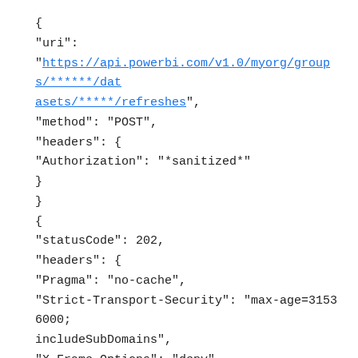{
"uri":
"https://api.powerbi.com/v1.0/myorg/groups/******/datasets/*****/refreshes",
"method": "POST",
"headers": {
"Authorization": "*sanitized*"
}
}
{
"statusCode": 202,
"headers": {
"Pragma": "no-cache",
"Strict-Transport-Security": "max-age=31536000; includeSubDomains",
"X-Frame-Options": "deny",
"X-Content-Type-Options": "nosniff",
"D........": "*****"